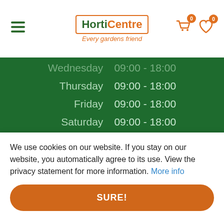[Figure (logo): HortiCentre logo with orange border box, green 'Horti' and orange 'Centre' text, tagline 'Every gardens friend' in orange italic]
| Day | Hours |
| --- | --- |
| Wednesday | 09:00 - 18:00 |
| Thursday | 09:00 - 18:00 |
| Friday | 09:00 - 18:00 |
| Saturday | 09:00 - 18:00 |
| Sunday | 10:00 - 16:00 |
Show all opening hours
QUICK LINKS
Flower Shop
Reward Card
Gallery
Delivery Information
We use cookies on our website. If you stay on our website, you automatically agree to its use. View the privacy statement for more information. More info
SURE!